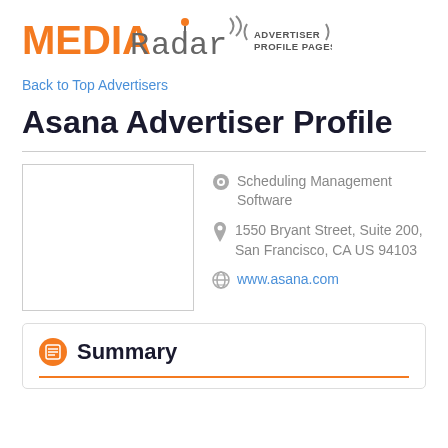MEDIA Radar ADVERTISER PROFILE PAGES
Back to Top Advertisers
Asana Advertiser Profile
[Figure (logo): Empty image placeholder box]
Scheduling Management Software
1550 Bryant Street, Suite 200, San Francisco, CA US 94103
www.asana.com
Summary